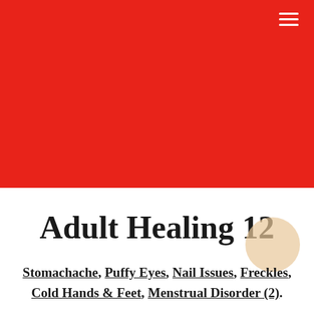[Figure (other): Solid red banner background filling the top portion of the page with a hamburger menu icon in the top-right corner]
Adult Healing 12
Stomachache, Puffy Eyes, Nail Issues, Freckles, Cold Hands & Feet, Menstrual Disorder (2).